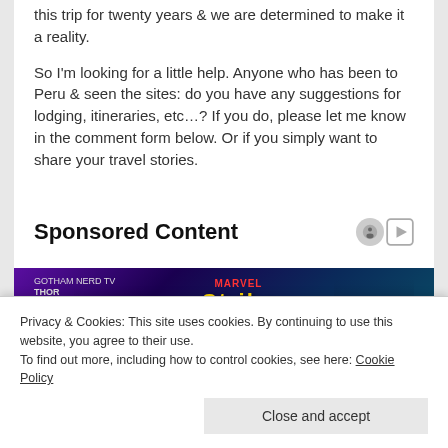this trip for twenty years & we are determined to make it a reality.
So I'm looking for a little help.  Anyone who has been to Peru & seen the sites: do you have any suggestions for lodging, itineraries, etc…?  If you do, please let me know in the comment form below.  Or if you simply want to share your travel stories.
Sponsored Content
[Figure (photo): Marvel Strike Force advertisement banner featuring comic book style characters including Thor, with purple and teal gradient background. Text reads 'MARVEL Strike Force' and 'Thor Love and Thunder Only in Theaters'.]
Privacy & Cookies: This site uses cookies. By continuing to use this website, you agree to their use.
To find out more, including how to control cookies, see here: Cookie Policy
Close and accept